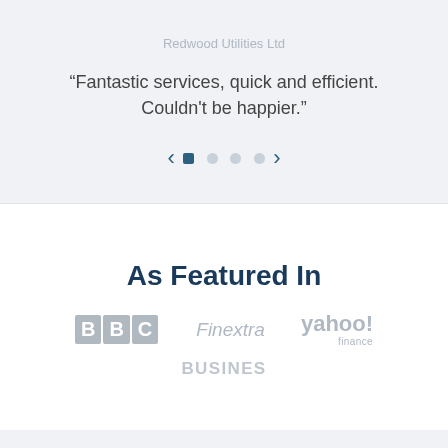Redwood Utilities Ltd
“Fantastic services, quick and efficient. Couldn't be happier.”
[Figure (other): Carousel navigation: left arrow, four dots (first active/filled, rest empty), right arrow]
As Featured In
[Figure (other): Media logos: BBC, Finextra, yahoo! finance, and a partially visible logo at the bottom]